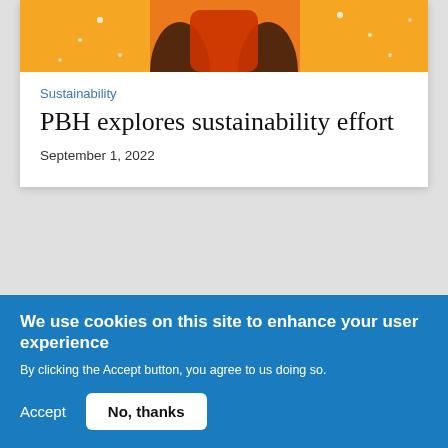[Figure (photo): Partial photo of a person in a red outfit against a yellow background with confetti]
Sustainability
PBH explores sustainability effort
September 1, 2022
- ADVERTISEMENT -
We use cookies on this site to enhance your user experience
By clicking the Accept button, you agree to us doing so.
Accept
No, thanks